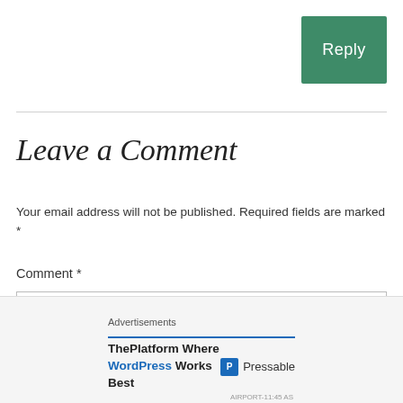Reply
Leave a Comment
Your email address will not be published. Required fields are marked *
Comment *
Advertisements
ThePlatform Where WordPress Works Best
Pressable